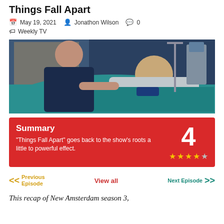Things Fall Apart
May 19, 2021  Jonathon Wilson  0  Weekly TV
[Figure (photo): Hospital scene showing a person in a dark jacket holding the hand of a man lying in a hospital bed wearing a patient gown, with medical equipment in the background and teal/blue bedding.]
Summary
"Things Fall Apart" goes back to the show's roots a little to powerful effect.
Rating: 4 stars (4 out of 5)
<< Previous Episode   View all   Next Episode >>
This recap of New Amsterdam season 3,